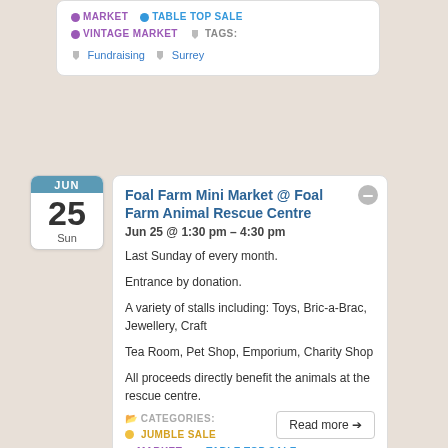MARKET  TABLE TOP SALE
VINTAGE MARKET  TAGS:  Fundraising  Surrey
JUN 25 Sun
Foal Farm Mini Market @ Foal Farm Animal Rescue Centre
Jun 25 @ 1:30 pm – 4:30 pm
Last Sunday of every month.
Entrance by donation.
A variety of stalls including: Toys, Bric-a-Brac, Jewellery, Craft
Tea Room, Pet Shop, Emporium, Charity Shop
All proceeds directly benefit the animals at the rescue centre.
CATEGORIES:
JUMBLE SALE
MARKET  TABLE TOP SALE
VINTAGE MARKET  TAGS: